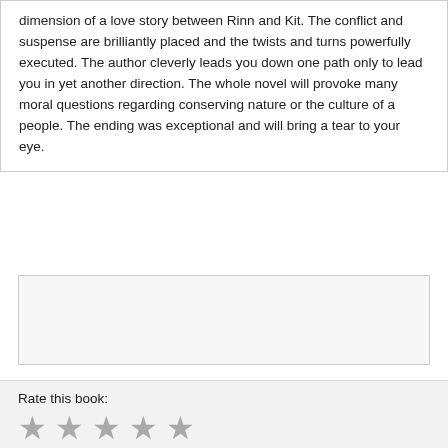dimension of a love story between Rinn and Kit. The conflict and suspense are brilliantly placed and the twists and turns powerfully executed. The author cleverly leads you down one path only to lead you in yet another direction. The whole novel will provoke many moral questions regarding conserving nature or the culture of a people. The ending was exceptional and will bring a tear to your eye.
Rate this book:
[Figure (other): Five grey star rating icons in a row]
Name:
Comment/Review: